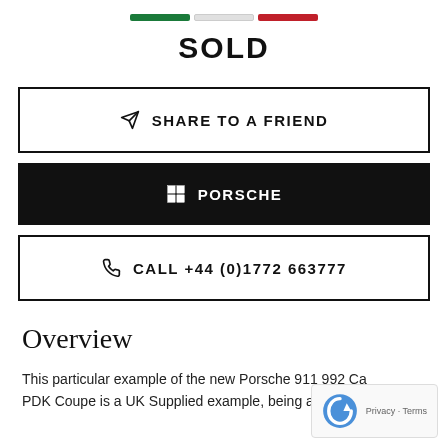[Figure (other): Three horizontal colored bars: green, light gray/white, red — acting as a decorative progress/status indicator]
SOLD
SHARE TO A FRIEND
PORSCHE
CALL +44 (0)1772 663777
Overview
This particular example of the new Porsche 911 992 Ca PDK Coupe is a UK Supplied example, being a 2019 / 19